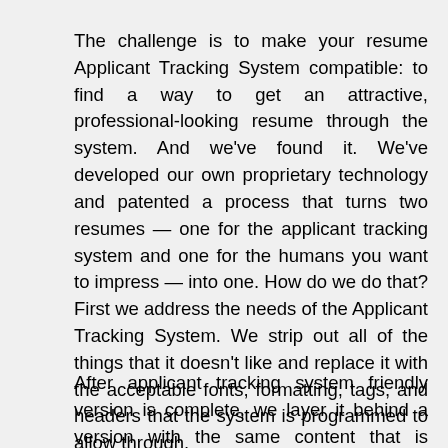The challenge is to make your resume Applicant Tracking System compatible: to find a way to get an attractive, professional-looking resume through the system. And we've found it. We've developed our own proprietary technology and patented a process that turns two resumes — one for the applicant tracking system and one for the humans you want to impress — into one. How do we do that? First we address the needs of the Applicant Tracking System. We strip out all of the things that it doesn't like and replace it with the acceptable fonts, formatting, tags, and headers that the system is programmed to allow through.
After applicant tracking system friendly version is complete, we layer it behind a version with the same content that is attractive to hiring managers.